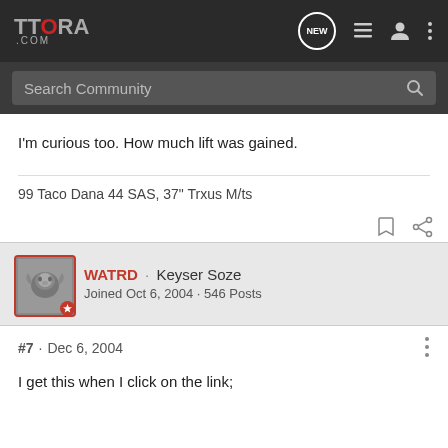TTORA.COM
I'm curious too. How much lift was gained.
99 Taco Dana 44 SAS, 37" Trxus M/ts
WATRD · Keyser Soze
Joined Oct 6, 2004 · 546 Posts
#7 · Dec 6, 2004
I get this when I click on the link;